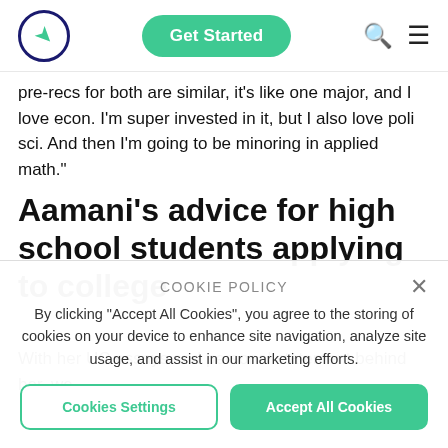Get Started
pre-recs for both are similar, it’s like one major, and I love econ. I’m super invested in it, but I also love poli sci. And then I’m going to be minoring in applied math.”
Aamani’s advice for high school students applying to college
With her UC essays and personal statement behind her, we
COOKIE POLICY
By clicking “Accept All Cookies”, you agree to the storing of cookies on your device to enhance site navigation, analyze site usage, and assist in our marketing efforts.
Cookies Settings
Accept All Cookies